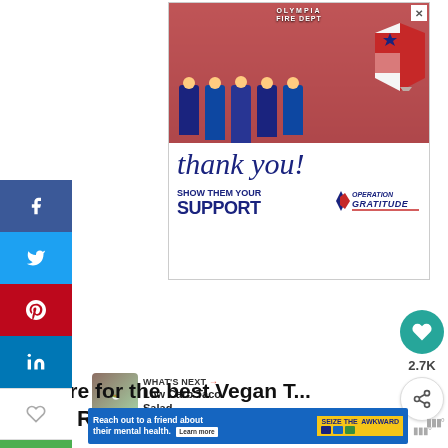[Figure (photo): Advertisement banner: Operation Gratitude - shows firefighters/first responders in front of fire truck, 'thank you!' handwritten text, 'SHOW THEM YOUR SUPPORT' with Operation Gratitude logo]
[Figure (infographic): Social media sidebar with Facebook, Twitter, Pinterest, LinkedIn, heart/like, email, and print buttons]
[Figure (infographic): Right panel with teal heart button showing 2.7K count and share button]
lick here for the best Vegan T...
Skillet Recipe:
[Figure (photo): What's Next thumbnail - Low Carb Taco Salad food photo]
WHAT'S NEXT → Low Carb Taco Salad
[Figure (infographic): Seize the Awkward mental health awareness ad: 'Reach out to a friend about their mental health. Learn more' with SEIZE THE AWKWARD badge]